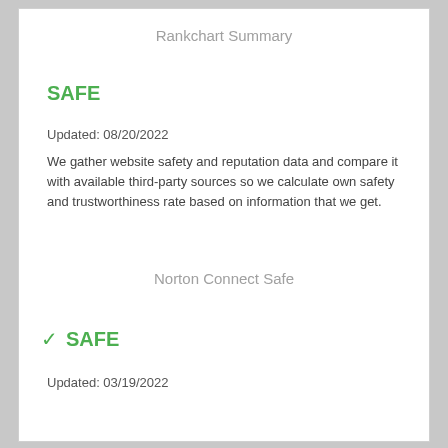Rankchart Summary
SAFE
Updated: 08/20/2022
We gather website safety and reputation data and compare it with available third-party sources so we calculate own safety and trustworthiness rate based on information that we get.
Norton Connect Safe
✓ SAFE
Updated: 03/19/2022